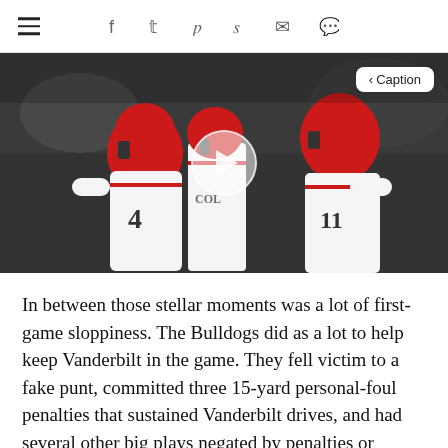≡  f  𝕥  𝑝  𝑠  ✉  💬
[Figure (photo): Two Georgia Bulldogs football players in white and red uniforms — player #4 and player #11 — appear to exchange a handoff or greeting on the field. A video play button overlay is visible in the center. A '< Caption' button is visible in the top right.]
In between those stellar moments was a lot of first-game sloppiness. The Bulldogs did as a lot to help keep Vanderbilt in the game. They fell victim to a fake punt, committed three 15-yard personal-foul penalties that sustained Vanderbilt drives, and had several other big plays negated by penalties or mistakes like letting a knee touch the ground while